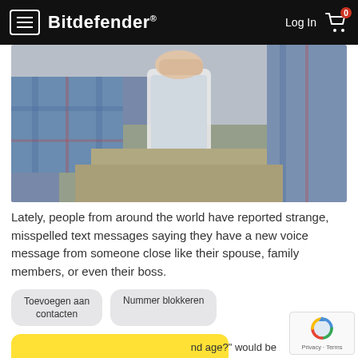Bitdefender — Log In | Cart
[Figure (photo): Person sitting down holding a smartphone, wearing a plaid shirt and khaki pants]
Lately, people from around the world have reported strange, misspelled text messages saying they have a new voice message from someone close like their spouse, family members, or even their boss.
[Figure (screenshot): SMS conversation screenshot showing Dutch UI buttons 'Toevoegen aan contacten' and 'Nummer blokkeren', date 'zondag 13 juni 2021', and a message bubble reading '[#W3Z4K] New voicemail: https://erfateknoloji.com/mttz?8fuf1183b4y7' at 21:57, plus a partial yellow message bubble at the bottom with text '...nd age?' would be]
[Figure (other): Google reCAPTCHA badge showing 'Privacy · Terms']